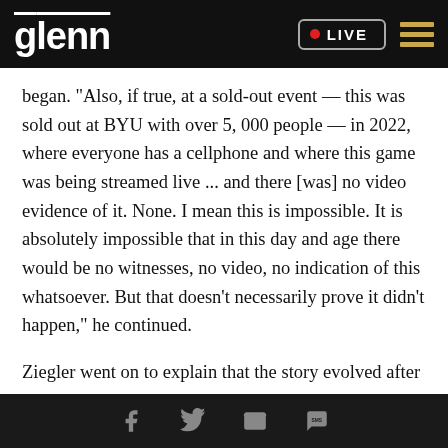glenn LIVE
began. "Also, if true, at a sold-out event — this was sold out at BYU with over 5, 000 people — in 2022, where everyone has a cellphone and where this game was being streamed live ... and there [was] no video evidence of it. None. I mean this is impossible. It is absolutely impossible that in this day and age there would be no witnesses, no video, no indication of this whatsoever. But that doesn't necessarily prove it didn't happen," he continued.
Ziegler went on to explain that the story evolved after Richardson's godmother, who is apparently
Facebook Twitter Email SMS